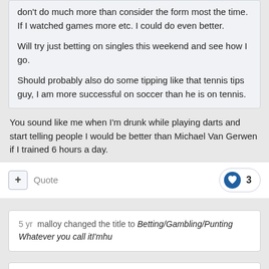don't do much more than consider the form most the time. If I watched games more etc. I could do even better.

Will try just betting on singles this weekend and see how I go.

Should probably also do some tipping like that tennis tips guy, I am more successful on soccer than he is on tennis.
You sound like me when I'm drunk while playing darts and start telling people I would be better than Michael Van Gerwen if I trained 6 hours a day.
+ Quote   3
5 yr   malloy changed the title to Betting/Gambling/Punting Whatever you call itI'mhu